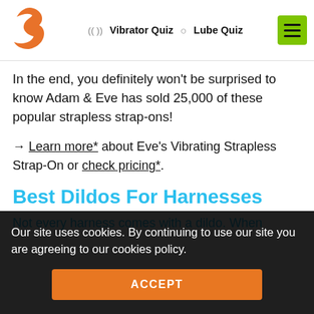Vibrator Quiz | Lube Quiz
In the end, you definitely won't be surprised to know Adam & Eve has sold 25,000 of these popular strapless strap-ons!
→ Learn more* about Eve's Vibrating Strapless Strap-On or check pricing*.
Best Dildos For Harnesses
Not every harness comes with a dildo. When
Our site uses cookies. By continuing to use our site you are agreeing to our cookies policy.
ACCEPT